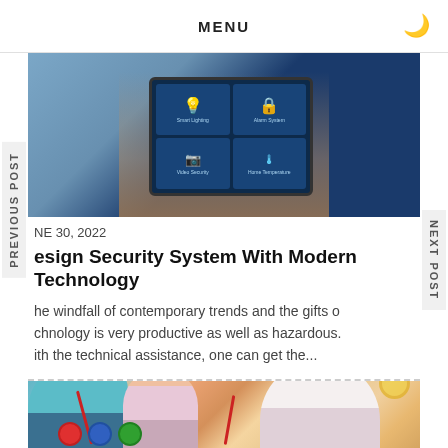MENU
[Figure (photo): Hands holding a tablet displaying a smart home control interface with icons for lighting, alarm system, video security, and home temperature on a blue background]
NE 30, 2022
esign Security System With Modern Technology
he windfall of contemporary trends and the gifts o
chnology is very productive as well as hazardous.
ith the technical assistance, one can get the...
[Figure (photo): Teacher and young children painting at a table, children holding paintbrushes with paint pots in front of them]